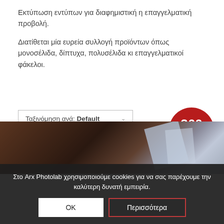Εκτύπωση εντύπων για διαφημιστική η επαγγελματική προβολή.
Διατίθεται μία ευρεία συλλογή προϊόντων όπως μονοσέλιδα, δίπτυχα, πολυσέλιδα κι επαγγελματικοί φάκελοι.
Ταξινόμηση ανά: Default
Εμφάνιση: 45 Προϊόντα ανά σελίδα
[Figure (illustration): Red circle badge with white text '360 Tour']
[Figure (photo): Dark background product image area showing printed materials on a wooden surface]
Στο Arx Photolab χρησιμοποιούμε cookies για να σας παρέχουμε την καλύτερη δυνατή εμπειρία.
OK
Περισσότερα